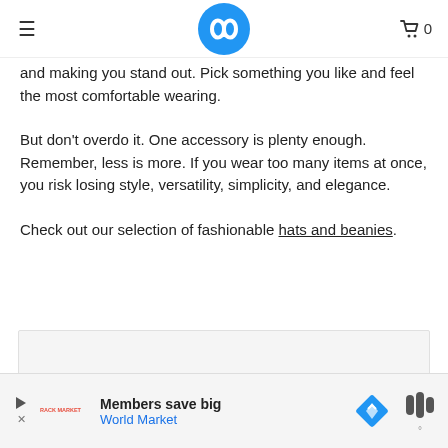≡  [logo]  🛒 0
and making you stand out. Pick something you like and feel the most comfortable wearing.
But don't overdo it. One accessory is plenty enough. Remember, less is more. If you wear too many items at once, you risk losing style, versatility, simplicity, and elegance.
Check out our selection of fashionable hats and beanies.
[Figure (other): Advertisement banner: Members save big - World Market]
Members save big World Market